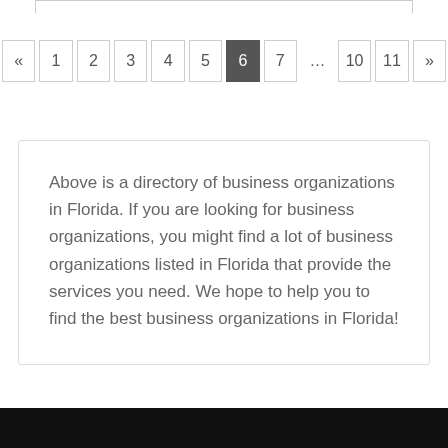« 1 2 3 4 5 6 7 … 10 11 »
Above is a directory of business organizations in Florida. If you are looking for business organizations, you might find a lot of business organizations listed in Florida that provide the services you need. We hope to help you to find the best business organizations in Florida!